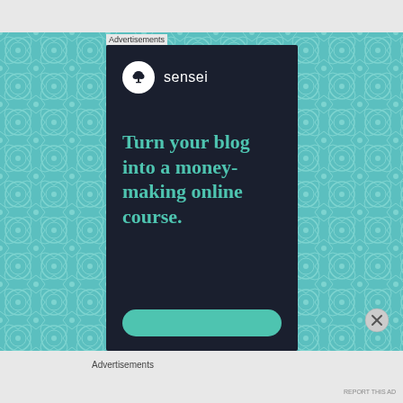Advertisements
[Figure (logo): Sensei logo: white circle with bonsai tree icon, followed by 'sensei' in white text on dark navy background]
Turn your blog into a money-making online course.
Advertisements
REPORT THIS AD